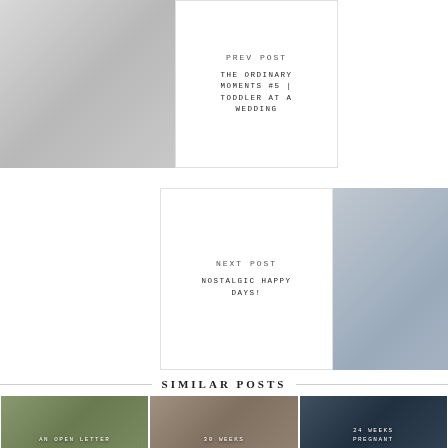[Figure (photo): Toddler in suspenders standing at a wedding, white background with bokeh lights]
PREV POST
THE ORDINARY MOMENTS #5 | TODDLER AT A WEDDING
NEXT POST
NOSTALGIC HAPPY DAYS!
[Figure (photo): Close-up of a baby/toddler with blue eyes chewing on something, looking at camera]
SIMILAR POSTS
[Figure (photo): Photo with text overlay: AN OPEN LETTER]
[Figure (photo): Photo with text overlay: 30 WEEKS]
[Figure (photo): Photo with text overlay: 24 WEEKS PREGNANT]